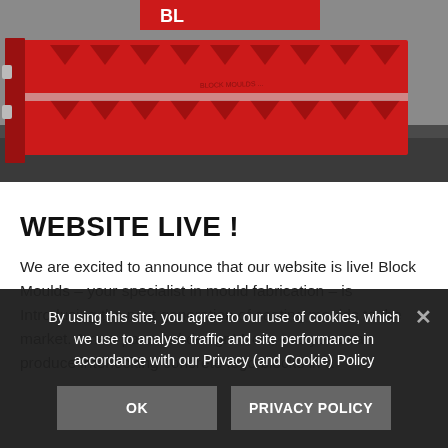[Figure (photo): Red industrial block mould / casting mould equipment with triangular indentations, stacked in two layers on a dark surface, photographed from an angle.]
WEBSITE LIVE !
We are excited to announce that our website is live! Block Moulds – your specialist in mould fabrication – is Introducing the next generation of casting moulds to the market. A new patented design! Now, everyone can produce interlocking concrete lego blocks in a
By using this site, you agree to our use of cookies, which we use to analyse traffic and site performance in accordance with our Privacy (and Cookie) Policy
OK   PRIVACY POLICY